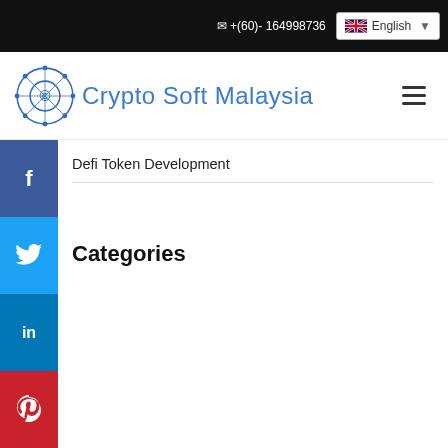+(60)- 164998736  English
[Figure (logo): Crypto Soft Malaysia logo with circular emblem in blue and text 'Crypto Soft Malaysia']
Defi Token Development
Categories